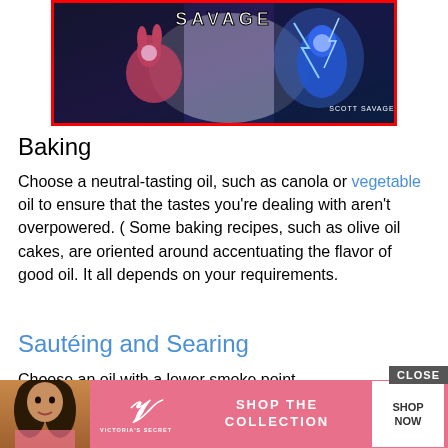[Figure (screenshot): Game screenshot with red border showing animated characters and text 'SAVAGE' with author credit 'SCOTT SAVAGE']
Baking
Choose a neutral-tasting oil, such as canola or vegetable oil to ensure that the tastes you’re dealing with aren’t overpowered. ( Some baking recipes, such as olive oil cakes, are oriented around accentuating the flavor of good oil. It all depends on your requirements.
Sautéing and Searing
Choose an oil with a lower smoke point... mor... saffl...
[Figure (screenshot): Victoria's Secret advertisement banner with CLOSE button, model photo, VS logo, 'SHOP THE COLLECTION' text, and 'SHOP NOW' button]